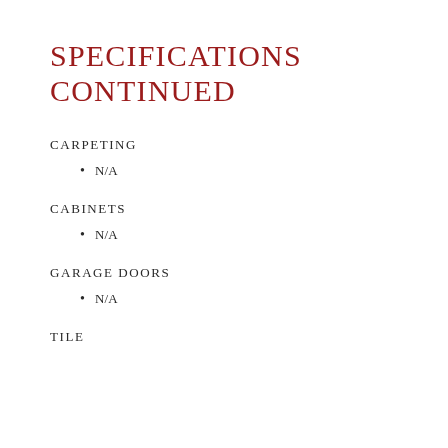SPECIFICATIONS CONTINUED
CARPETING
N/A
CABINETS
N/A
GARAGE DOORS
N/A
TILE